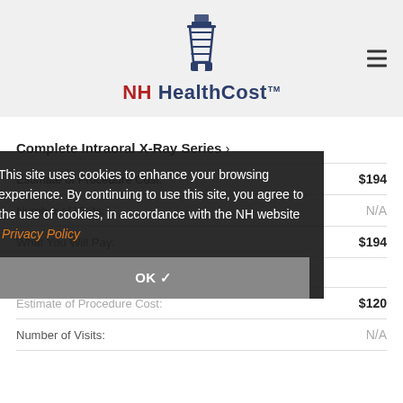NH HealthCost
Complete Intraoral X-Ray Series >
|  |  |
| --- | --- |
| Estimate of Procedure Cost: | $194 |
| Number of Visits: | N/A |
| What You Will Pay: | $194 |
This site uses cookies to enhance your browsing experience. By continuing to use this site, you agree to the use of cookies, in accordance with the NH website  Privacy Policy
Comprehensive Dental Exam >
|  |  |
| --- | --- |
| Estimate of Procedure Cost: | $120 |
| Number of Visits: | N/A |